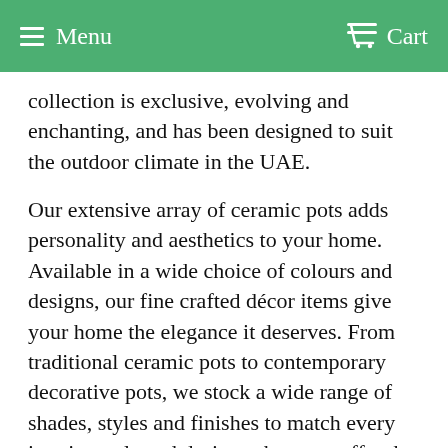Menu   Cart
collection is exclusive, evolving and enchanting, and has been designed to suit the outdoor climate in the UAE.
Our extensive array of ceramic pots adds personality and aesthetics to your home. Available in a wide choice of colours and designs, our fine crafted décor items give your home the elegance it deserves. From traditional ceramic pots to contemporary decorative pots, we stock a wide range of shades, styles and finishes to match every interior style and design scheme to offer the best in home, garden and landscape art. Our expert team will help you find the perfect size and design for your home or business by providing you with expert advice and guidance.
Our high-quality ceramic pots complement both indoor and outdoor spaces. Made from the finest materials, the…